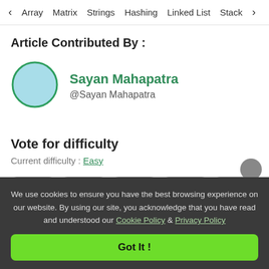< Array  Matrix  Strings  Hashing  Linked List  Stack >
Article Contributed By :
[Figure (illustration): Circular avatar with light blue fill and green border representing user Sayan Mahapatra]
Sayan Mahapatra
@Sayan Mahapatra
Vote for difficulty
Current difficulty : Easy
Easy  Normal  Medium  Hard  Expert
We use cookies to ensure you have the best browsing experience on our website. By using our site, you acknowledge that you have read and understood our Cookie Policy & Privacy Policy
Got It !